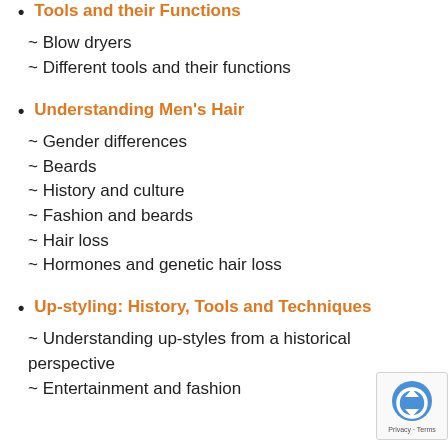Tools and their Functions
~ Blow dryers
~ Different tools and their functions
Understanding Men's Hair
~ Gender differences
~ Beards
~ History and culture
~ Fashion and beards
~ Hair loss
~ Hormones and genetic hair loss
Up-styling: History, Tools and Techniques
~ Understanding up-styles from a historical perspective
~ Entertainment and fashion